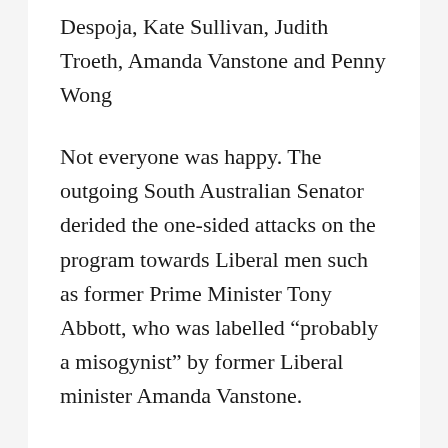Despoja, Kate Sullivan, Judith Troeth, Amanda Vanstone and Penny Wong
Not everyone was happy. The outgoing South Australian Senator derided the one-sided attacks on the program towards Liberal men such as former Prime Minister Tony Abbott, who was labelled “probably a misogynist” by former Liberal minister Amanda Vanstone.
Well, on that point, Julia Gillard would probably agree with Amanda